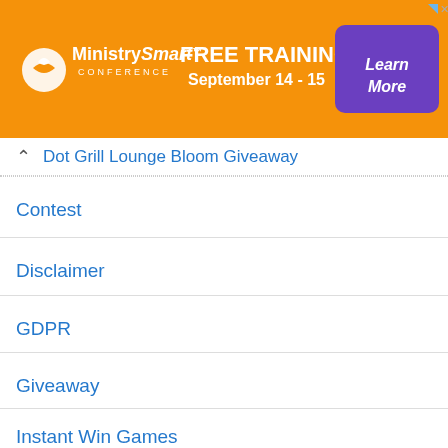[Figure (infographic): MinistrySmart Conference advertisement banner with orange background, logo on left, 'FREE TRAINING September 14-15' text in center, and purple 'Learn More' button on right]
↑ Dot Grill Lounge Bloom Giveaway
Contest
Disclaimer
GDPR
Giveaway
Instant Win Games
Monopoly Sweepstakes
PCH Sweepstakes